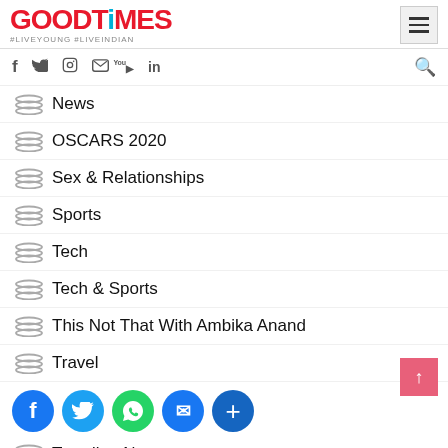GOODTiMES #LIVEYOUNG #LIVEINDIAN
News
OSCARS 2020
Sex & Relationships
Sports
Tech
Tech & Sports
This Not That With Ambika Anand
Travel
Trending Now